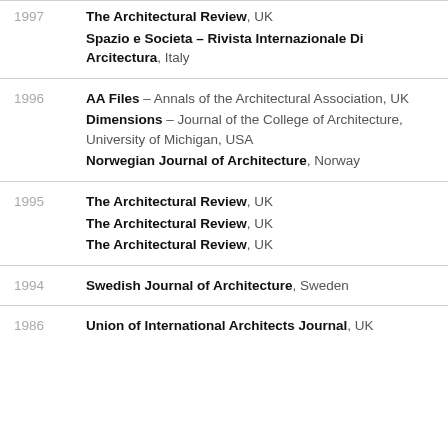1997 | The Architectural Review, UK | Spazio e Societa – Rivista Internazionale Di Arcitectura, Italy
1996 | AA Files – Annals of the Architectural Association, UK | Dimensions – Journal of the College of Architecture, University of Michigan, USA | Norwegian Journal of Architecture, Norway
1995 | The Architectural Review, UK | The Architectural Review, UK | The Architectural Review, UK
1994 | Swedish Journal of Architecture, Sweden
1986 | Union of International Architects Journal, UK